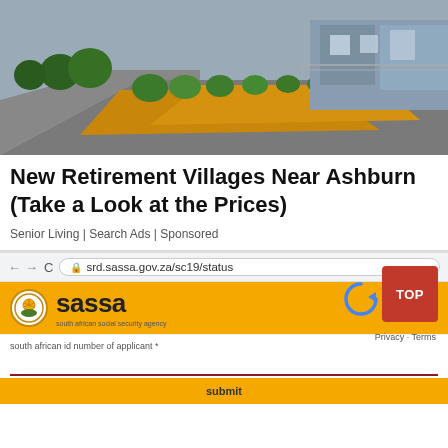[Figure (photo): Photo of a retirement village exterior showing row of modern single-story homes with blue/grey siding, green shrubs, and orange/yellow mulch landscaping along a paved pathway.]
New Retirement Villages Near Ashburn (Take a Look at the Prices)
Senior Living | Search Ads | Sponsored
[Figure (screenshot): Screenshot of SASSA (South African Social Security Agency) website at srd.sassa.gov.za/sc19/status showing a form with South African ID number field marked invalid, phone number field, a TOP button, reCAPTCHA widget, Privacy/Terms link, and submit bar.]